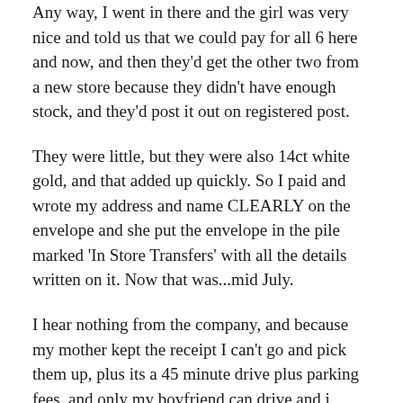Any way, I went in there and the girl was very nice and told us that we could pay for all 6 here and now, and then they'd get the other two from a new store because they didn't have enough stock, and they'd post it out on registered post.
They were little, but they were also 14ct white gold, and that added up quickly. So I paid and wrote my address and name CLEARLY on the envelope and she put the envelope in the pile marked 'In Store Transfers' with all the details written on it. Now that was...mid July.
I hear nothing from the company, and because my mother kept the receipt I can't go and pick them up, plus its a 45 minute drive plus parking fees, and only my boyfriend can drive and i didn't really want to spend that much on fuel for a few earrings, considering how much I'd already